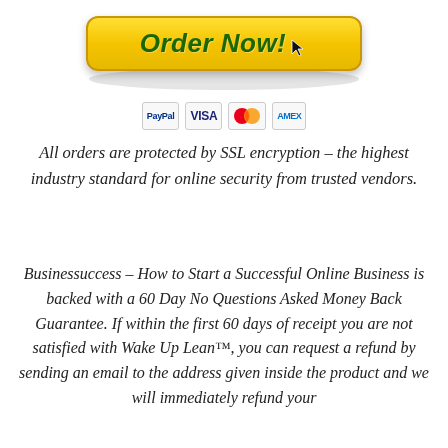[Figure (illustration): Order Now button with yellow gradient background, italic bold green text reading 'Order Now!', red decorative arrows on each side, oval shadow beneath, and a cursor icon. Below the button are payment method icons: PayPal, VISA, Mastercard, American Express.]
All orders are protected by SSL encryption – the highest industry standard for online security from trusted vendors.
Businessuccess – How to Start a Successful Online Business is backed with a 60 Day No Questions Asked Money Back Guarantee. If within the first 60 days of receipt you are not satisfied with Wake Up Lean™, you can request a refund by sending an email to the address given inside the product and we will immediately refund your